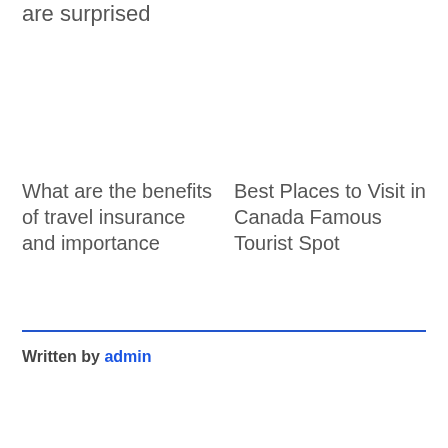are surprised
What are the benefits of travel insurance and importance
Best Places to Visit in Canada Famous Tourist Spot
Written by admin